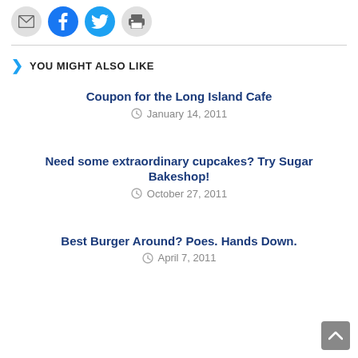[Figure (other): Social sharing icon buttons: email (gray circle), Facebook (blue circle), Twitter (blue circle), print (gray circle)]
YOU MIGHT ALSO LIKE
Coupon for the Long Island Cafe
January 14, 2011
Need some extraordinary cupcakes? Try Sugar Bakeshop!
October 27, 2011
Best Burger Around? Poes. Hands Down.
April 7, 2011